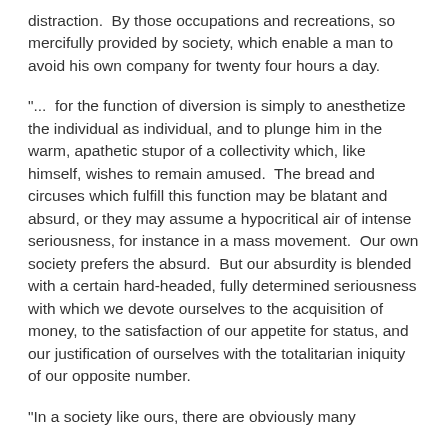distraction.  By those occupations and recreations, so mercifully provided by society, which enable a man to avoid his own company for twenty four hours a day.
"...  for the function of diversion is simply to anesthetize the individual as individual, and to plunge him in the warm, apathetic stupor of a collectivity which, like himself, wishes to remain amused.  The bread and circuses which fulfill this function may be blatant and absurd, or they may assume a hypocritical air of intense seriousness, for instance in a mass movement.  Our own society prefers the absurd.  But our absurdity is blended with a certain hard-headed, fully determined seriousness with which we devote ourselves to the acquisition of money, to the satisfaction of our appetite for status, and our justification of ourselves with the totalitarian iniquity of our opposite number.
"In a society like ours, there are obviously many